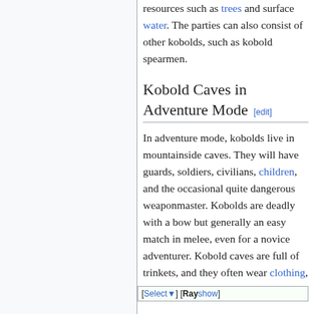resources such as trees and surface water. The parties can also consist of other kobolds, such as kobold spearmen.
Kobold Caves in Adventure Mode [edit]
In adventure mode, kobolds live in mountainside caves. They will have guards, soldiers, civilians, children, and the occasional quite dangerous weaponmaster. Kobolds are deadly with a bow but generally an easy match in melee, even for a novice adventurer. Kobold caves are full of trinkets, and they often wear clothing, weapons, and small-sized armor.
[Select▼] [show]